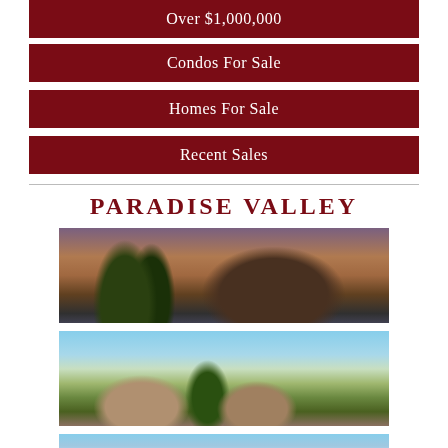Over $1,000,000
Condos For Sale
Homes For Sale
Recent Sales
PARADISE VALLEY
[Figure (photo): Twilight photo of a desert mountain (Camelback Mountain area) with palm trees and a lit modern home in foreground]
[Figure (photo): Daytime photo of a desert Southwest adobe-style home surrounded by desert landscaping and trees]
[Figure (photo): Partial photo of another Paradise Valley property, partially visible]